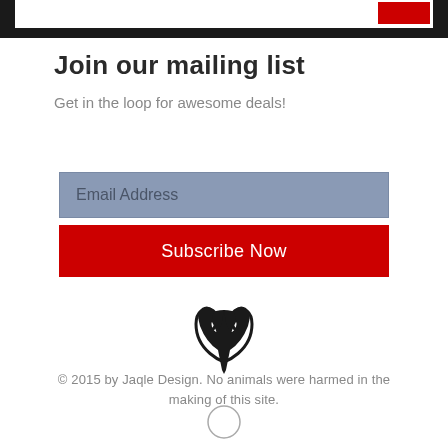[Figure (screenshot): Top navigation bar fragment showing white bar with red button element]
Join our mailing list
Get in the loop for awesome deals!
[Figure (other): Email address input field with gray-blue background showing placeholder text 'Email Address']
[Figure (other): Red Subscribe Now button]
[Figure (logo): Decorative black logo/symbol resembling stylized horns or flourish]
© 2015 by Jaqle Design. No animals were harmed in the making of this site.
[Figure (other): Small circle icon at bottom center]